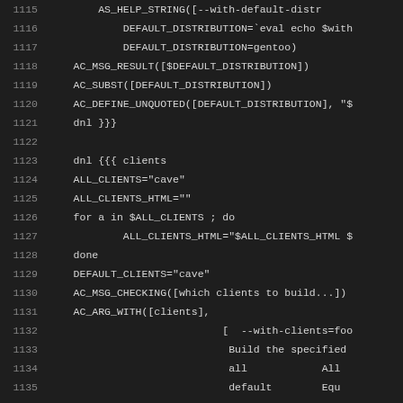[Figure (screenshot): Source code editor screenshot showing shell/autoconf script lines 1115-1142 on dark background. Lines include AS_HELP_STRING, DEFAULT_DISTRIBUTION, AC_MSG_RESULT, AC_SUBST, AC_DEFINE_UNQUOTED, dnl macros, ALL_CLIENTS, for loop, AC_MSG_CHECKING, AC_ARG_WITH, sed commands.]